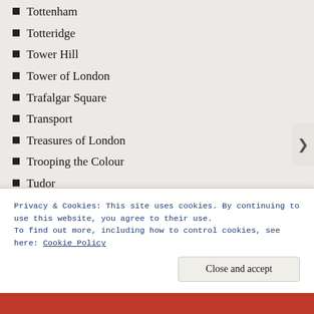Tottenham
Totteridge
Tower Hill
Tower of London
Trafalgar Square
Transport
Treasures of London
Trooping the Colour
Tudor
Tudor Pull
Twentieth century
Twickenham
Uncategorized
Underground
Underground's 150th
Privacy & Cookies: This site uses cookies. By continuing to use this website, you agree to their use.
To find out more, including how to control cookies, see here: Cookie Policy
Close and accept